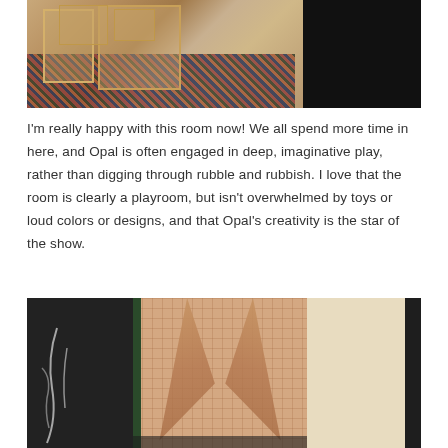[Figure (photo): Interior photo of a children's playroom showing wooden table and chairs on a patterned rug with dark chalkboard wall on the right side]
I'm really happy with this room now!  We all spend more time in here, and Opal is often engaged in deep, imaginative play, rather than digging through rubble and rubbish.  I love that the room is clearly a playroom, but isn't overwhelmed by toys or loud colors or designs, and that Opal's creativity is the star of the show.
[Figure (photo): Interior photo of a children's playroom showing a dark chalkboard wall with chalk drawings on the left, patterned curtains in the center, and a light-colored wall panel on the right]